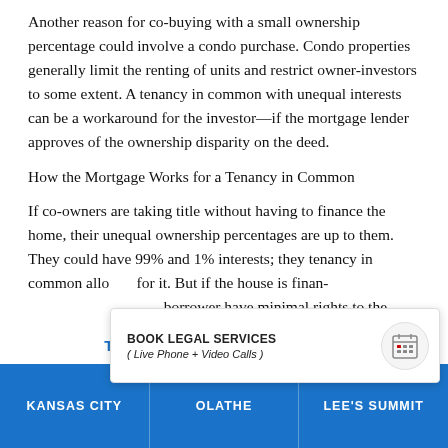Another reason for co-buying with a small ownership percentage could involve a condo purchase. Condo properties generally limit the renting of units and restrict owner-investors to some extent. A tenancy in common with unequal interests can be a workaround for the investor—if the mortgage lender approves of the ownership disparity on the deed.
How the Mortgage Works for a Tenancy in Common
If co-owners are taking title without having to finance the home, their unequal ownership percentages are up to them. They could have 99% and 1% interests; they tenancy in common allows for it. But if the house is financed, lenders will require every borrower have minimal rights to the asset's value. The point of requiring co-owners is to have everyone on the loan share
[Figure (other): Book Legal Services popup banner with calendar icon. Text: BOOK LEGAL SERVICES (Live Phone + Video Calls)]
TOUCH BELOW TO CALL US
KANSAS CITY | OLATHE | LEE'S SUMMIT